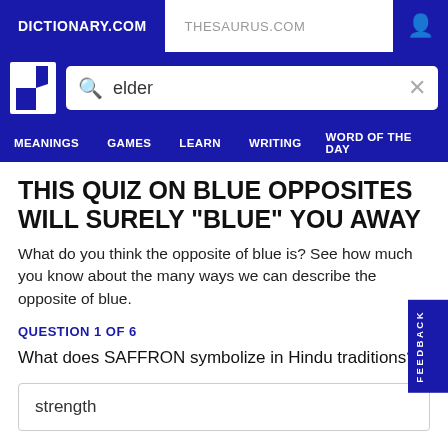DICTIONARY.COM | THESAURUS.COM
[Figure (screenshot): Dictionary.com logo — white D letter with stylized shape on dark blue background]
THIS QUIZ ON BLUE OPPOSITES WILL SURELY "BLUE" YOU AWAY
What do you think the opposite of blue is? See how much you know about the many ways we can describe the opposite of blue.
QUESTION 1 OF 6
What does SAFFRON symbolize in Hindu traditions?
strength